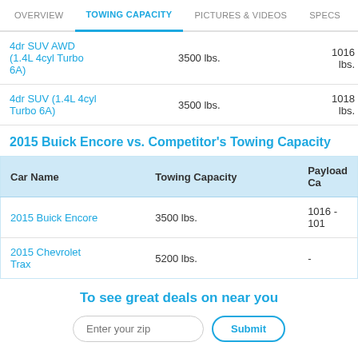OVERVIEW | TOWING CAPACITY | PICTURES & VIDEOS | SPECS
|  | Towing Capacity | Payload Capacity |
| --- | --- | --- |
| 4dr SUV AWD (1.4L 4cyl Turbo 6A) | 3500 lbs. | 1016 lbs. |
| 4dr SUV (1.4L 4cyl Turbo 6A) | 3500 lbs. | 1018 lbs. |
2015 Buick Encore vs. Competitor's Towing Capacity
| Car Name | Towing Capacity | Payload Ca... |
| --- | --- | --- |
| 2015 Buick Encore | 3500 lbs. | 1016 - 101... |
| 2015 Chevrolet Trax | 5200 lbs. | - |
To see great deals on near you
Enter your zip | Submit